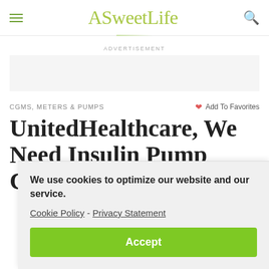ASweetLife
ADVERTISEMENT
CGMS, METERS & PUMPS
Add To Favorites
UnitedHealthcare, We Need Insulin Pump Choices
We use cookies to optimize our website and our service.
Cookie Policy - Privacy Statement
Accept